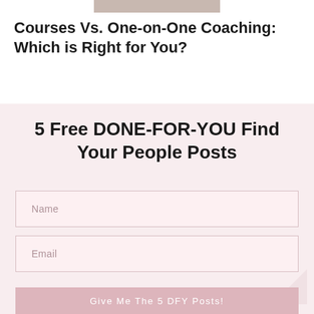[Figure (photo): Partial photo strip visible at top of page]
Courses Vs. One-on-One Coaching: Which is Right for You?
5 Free DONE-FOR-YOU Find Your People Posts
Name
Email
Give Me The 5 DFY Posts!